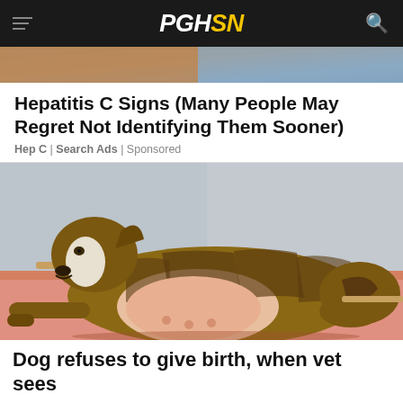PGHSN
[Figure (photo): Partial top edge of a person's face / hair, cropped image strip at top of page]
Hepatitis C Signs (Many People May Regret Not Identifying Them Sooner)
Hep C | Search Ads | Sponsored
[Figure (photo): A brindle dog lying on its side on a pink blanket, showing a large swollen belly, photographed in a room with a white wall and wooden element]
Dog refuses to give birth, when vet sees